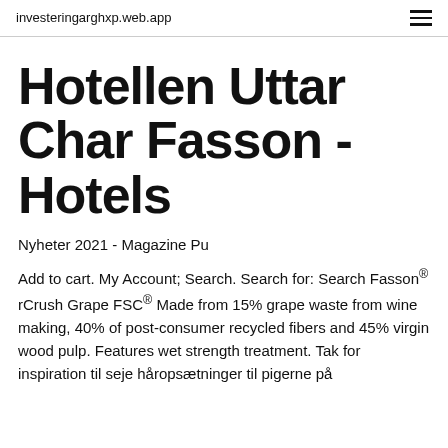investeringarghxp.web.app
Hotellen Uttar Char Fasson - Hotels
Nyheter 2021 - Magazine Pu
Add to cart. My Account; Search. Search for: Search Fasson® rCrush Grape FSC® Made from 15% grape waste from wine making, 40% of post-consumer recycled fibers and 45% virgin wood pulp. Features wet strength treatment. Tak for inspiration til seje håropsætninger til pigerne på